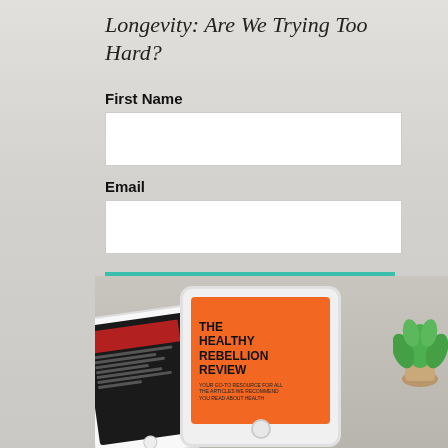Longevity: Are We Trying Too Hard?
First Name
Email
DOWNLOAD THE REVIEW FREE NOW
[Figure (photo): Photo of a white iPad tablet displaying 'The Healthy Rebellion Review' book cover in orange, alongside a dark phone and a green plant on a light marble surface.]